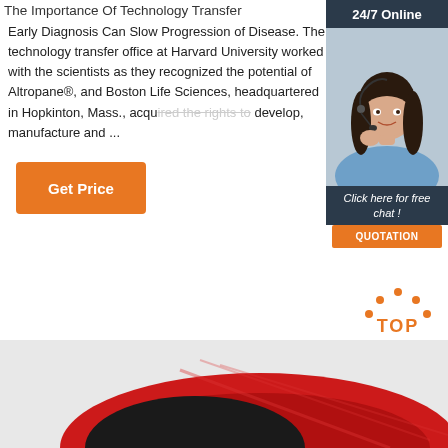The Importance Of Technology Transfer
Early Diagnosis Can Slow Progression of Disease. The technology transfer office at Harvard University worked with the scientists as they recognized the potential of Altropane®, and Boston Life Sciences, headquartered in Hopkinton, Mass., acquired the rights to develop, manufacture and ...
[Figure (illustration): Orange 'Get Price' button]
[Figure (illustration): Sidebar advertisement with '24/7 Online' header, photo of woman with headset, 'Click here for free chat!' text, and orange QUOTATION button]
[Figure (illustration): Orange dots forming an arc above 'TOP' text in orange, acting as a back-to-top button]
[Figure (photo): Bottom portion showing a red and black object, partially cropped]